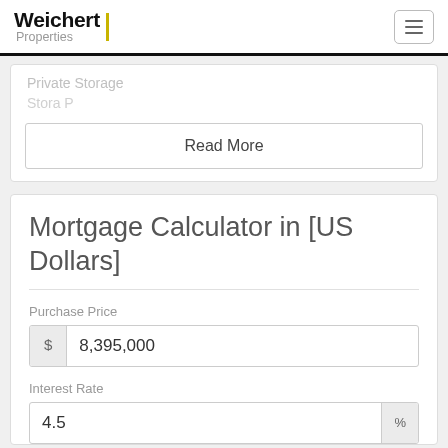Weichert Properties
Private Storage
Read More
Mortgage Calculator in [US Dollars]
Purchase Price
$ 8,395,000
Interest Rate
%